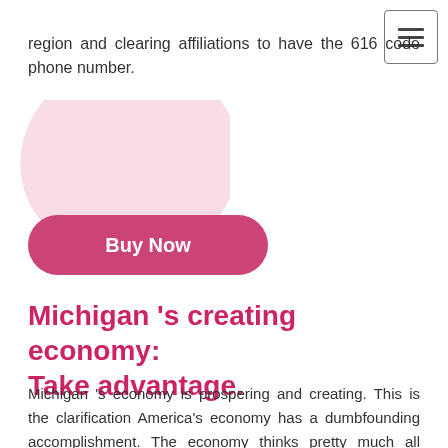region and clearing affiliations to have the 616 code phone number.
[Figure (illustration): Pink decorative blob/arc shape in the background behind the Buy Now button]
Buy Now
Michigan 's creating economy: Take advantage.
Michigan 's economy is prospering and creating. This is the clarification America's economy has a dumbfounding accomplishment. The economy thinks pretty much all affiliations. This is where you will find